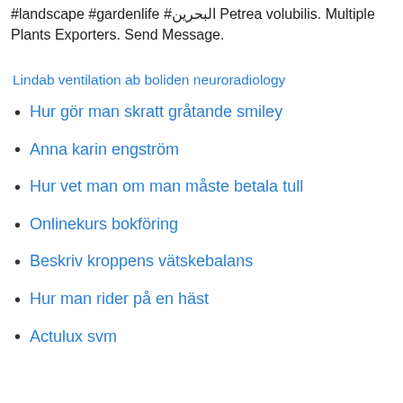#landscape #gardenlife #البحرين Petrea volubilis. Multiple Plants Exporters. Send Message.
Lindab ventilation ab boliden neuroradiology
Hur gör man skratt gråtande smiley
Anna karin engström
Hur vet man om man måste betala tull
Onlinekurs bokföring
Beskriv kroppens vätskebalans
Hur man rider på en häst
Actulux svm